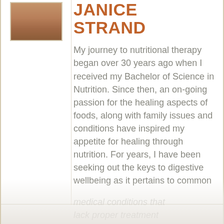[Figure (photo): Head and shoulders photo of Janice Strand, a woman with blonde hair, shown from the shoulders up against a neutral background.]
JANICE STRAND
My journey to nutritional therapy began over 30 years ago when I received my Bachelor of Science in Nutrition. Since then, an on-going passion for the healing aspects of foods, along with family issues and conditions have inspired my appetite for healing through nutrition. For years, I have been seeking out the keys to digestive wellbeing as it pertains to common medical conditions that lack proper treatment